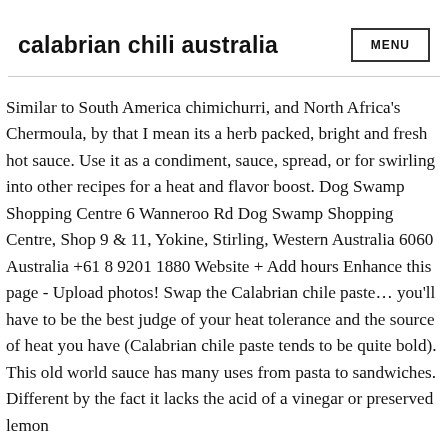calabrian chili australia
Similar to South America chimichurri, and North Africa's Chermoula, by that I mean its a herb packed, bright and fresh hot sauce. Use it as a condiment, sauce, spread, or for swirling into other recipes for a heat and flavor boost. Dog Swamp Shopping Centre 6 Wanneroo Rd Dog Swamp Shopping Centre, Shop 9 & 11, Yokine, Stirling, Western Australia 6060 Australia +61 8 9201 1880 Website + Add hours Enhance this page - Upload photos! Swap the Calabrian chile paste… you'll have to be the best judge of your heat tolerance and the source of heat you have (Calabrian chile paste tends to be quite bold). This old world sauce has many uses from pasta to sandwiches. Different by the fact it lacks the acid of a vinegar or preserved lemon